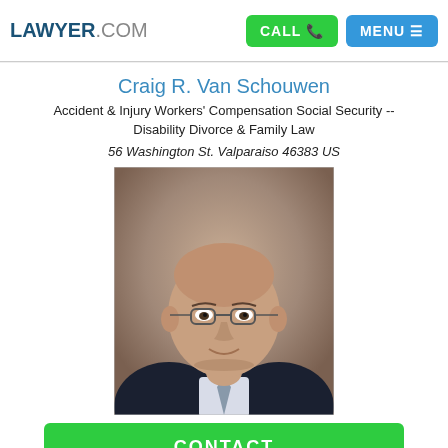LAWYER.COM | CALL | MENU
Craig R. Van Schouwen
Accident & Injury Workers' Compensation Social Security -- Disability Divorce & Family Law
56 Washington St. Valparaiso 46383 US
[Figure (photo): Professional headshot of Craig R. Van Schouwen, a middle-aged bald man wearing glasses, a dark suit, white striped shirt, and gray tie, against a brown/tan studio background.]
CONTACT
Brian Nicholas Custy
Accident & Injury Personal Injury Wrongful Death Slip & Fall